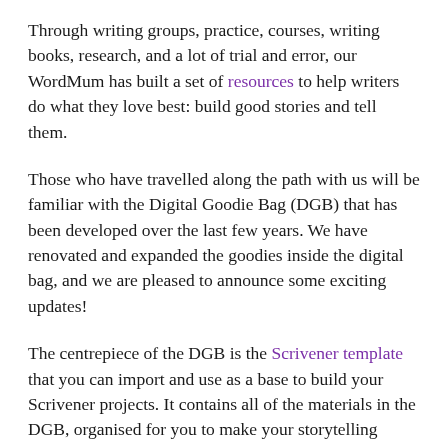Through writing groups, practice, courses, writing books, research, and a lot of trial and error, our WordMum has built a set of resources to help writers do what they love best: build good stories and tell them.
Those who have travelled along the path with us will be familiar with the Digital Goodie Bag (DGB) that has been developed over the last few years. We have renovated and expanded the goodies inside the digital bag, and we are pleased to announce some exciting updates!
The centrepiece of the DGB is the Scrivener template that you can import and use as a base to build your Scrivener projects. It contains all of the materials in the DGB, organised for you to make your storytelling journey as smooth as possible!
The template now supports and guides you through the whole process of creating a story, with sheets for you to